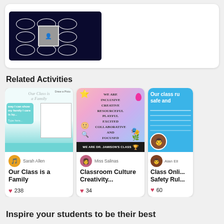[Figure (screenshot): Top card showing a mind-map style worksheet with a photo of a person in the center surrounded by ovals on a dark starry background]
Related Activities
[Figure (screenshot): Activity card thumbnail: Our Class is a Family - teal and white worksheet with text areas]
Sarah Allen
Our Class is a Family
238
[Figure (screenshot): Activity card thumbnail: Classroom Culture Creativity - colorful gradient background with class values listed and WE ARE DR. JAMISON'S CLASS banner at bottom]
Miss Salinas
Classroom Culture Creativity...
34
[Figure (screenshot): Partial activity card thumbnail: Class Online Safety Rules - blue background with white text]
Alan Ell
Class Onli... Safety Rul...
60
Inspire your students to be their best